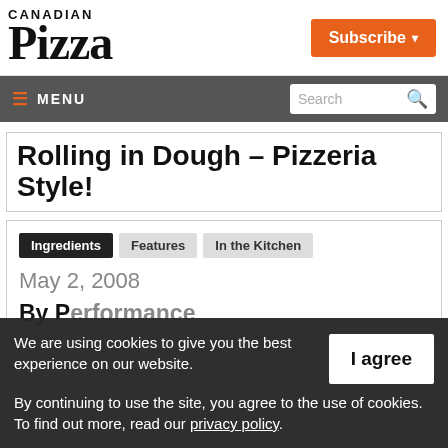CANADIAN Pizza
Subscribe ▾
≡ MENU | Search 🔍
Rolling in Dough – Pizzeria Style!
Ingredients | Features | In the Kitchen
May 2, 2008
We are using cookies to give you the best experience on our website.
By continuing to use the site, you agree to the use of cookies.
To find out more, read our privacy policy.
I agree